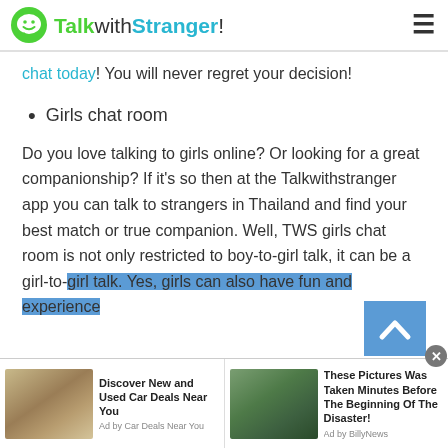TalkwithStranger!
chat today! You will never regret your decision!
Girls chat room
Do you love talking to girls online? Or looking for a great companionship? If it's so then at the Talkwithstranger app you can talk to strangers in Thailand and find your best match or true companion. Well, TWS girls chat room is not only restricted to boy-to-girl talk, it can be a girl-to-girl talk. Yes, girls can also have fun and experience
[Figure (infographic): Advertisement bar with two ad units: 'Discover New and Used Car Deals Near You' by Car Deals Near You, and 'These Pictures Was Taken Minutes Before The Beginning Of The Disaster!' by BillyNews]